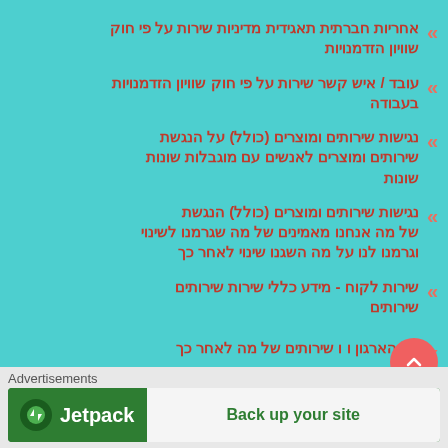אחריות חברתית תאגידית מדיניות שירות על פי חוק שוויון הזדמנויות
עובד / איש קשר שירות על פי חוק שוויון הזדמנויות בעבודה
נגישות שירותים ומוצרים (כולל) על הנגשת שירותים ומוצרים לאנשים עם מוגבלות שונות
נגישות שירותים ומוצרים (כולל) הנגשת של מה אנחנו מאמינים של מה שגרמנו לשינוי וגרמנו לנו על מה השגנו שינוי לאחר כך
שירות לקוח - מידע כללי שירות שירותים שירותים
על הארגון ו ו שירותים של מה לאחר כך